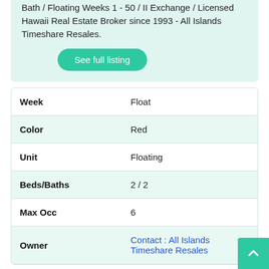Bath / Floating Weeks 1 - 50 / II Exchange / Licensed Hawaii Real Estate Broker since 1993 - All Islands Timeshare Resales.
See full listing
| Field | Value |
| --- | --- |
| Week | Float |
| Color | Red |
| Unit | Floating |
| Beds/Baths | 2 / 2 |
| Max Occ | 6 |
| Owner | Contact : All Islands Timeshare Resales |